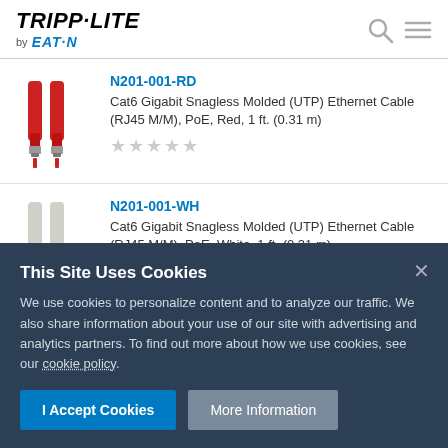[Figure (logo): Tripp-Lite by Eaton logo in top left, with search and menu icons top right]
N201-001-RD
Cat6 Gigabit Snagless Molded (UTP) Ethernet Cable (RJ45 M/M), PoE, Red, 1 ft. (0.31 m)
[Figure (photo): Two red Cat6 ethernet cables]
N201-001-WH
Cat6 Gigabit Snagless Molded (UTP) Ethernet Cable (RJ45 M/M), PoE, White, 1 ft. (0.31 m)
[Figure (photo): Two white Cat6 ethernet cables]
This Site Uses Cookies
We use cookies to personalize content and to analyze our traffic. We also share information about your use of our site with advertising and analytics partners. To find out more about how we use cookies, see our cookie policy.
I Accept Cookies
More Information